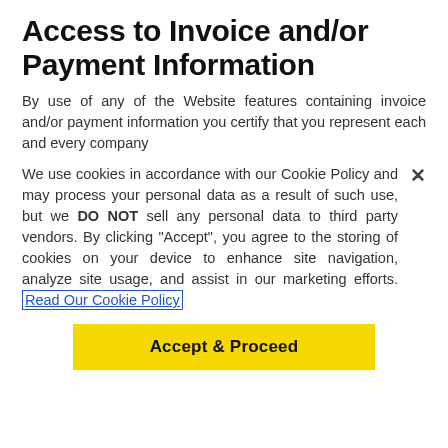Access to Invoice and/or Payment Information
By use of any of the Website features containing invoice and/or payment information you certify that you represent each and every company
We use cookies in accordance with our Cookie Policy and may process your personal data as a result of such use, but we DO NOT sell any personal data to third party vendors. By clicking "Accept", you agree to the storing of cookies on your device to enhance site navigation, analyze site usage, and assist in our marketing efforts. Read Our Cookie Policy
Accept & Proceed